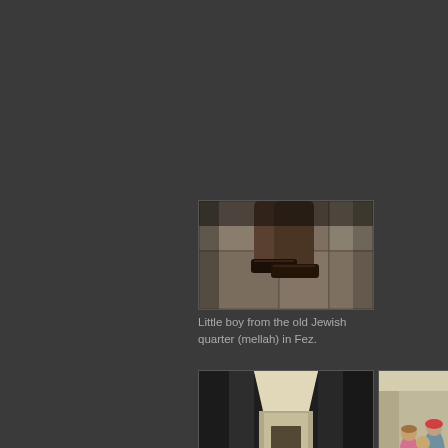[Figure (photo): Close-up photo of a little boy's feet in sandals on stone pavement, viewed from above, in the old Jewish quarter (mellah) in Fez.]
Little boy from the old Jewish quarter (mellah) in Fez.
[Figure (photo): Dark narrow alleyway in an old medina with figures walking through, high walls on both sides letting in light from above.]
[Figure (photo): Group of children playing in a courtyard of the old city (medina) in Meknes, colorfully dressed.]
Children from the old city (medina) in Meknes.